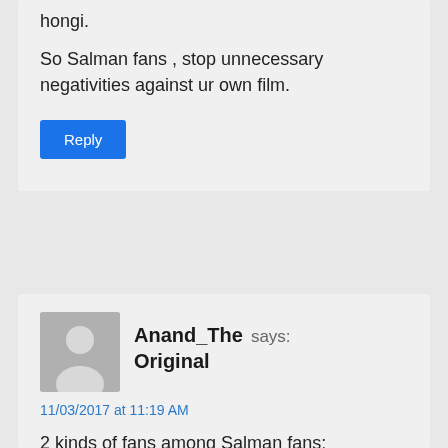hongi.
So Salman fans , stop unnecessary negativities against ur own film.
Reply
Anand_The Original says:
11/03/2017 at 11:19 AM
2 kinds of fans among Salman fans:
1) Fans of BO success of